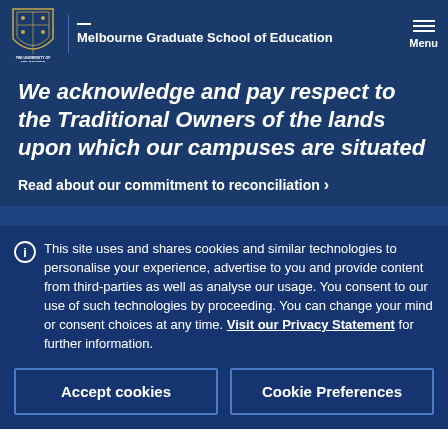Melbourne Graduate School of Education
We acknowledge and pay respect to the Traditional Owners of the lands upon which our campuses are situated
Read about our commitment to reconciliation >
This site uses and shares cookies and similar technologies to personalise your experience, advertise to you and provide content from third-parties as well as analyse our usage. You consent to our use of such technologies by proceeding. You can change your mind or consent choices at any time. Visit our Privacy Statement for further information.
Accept cookies
Cookie Preferences